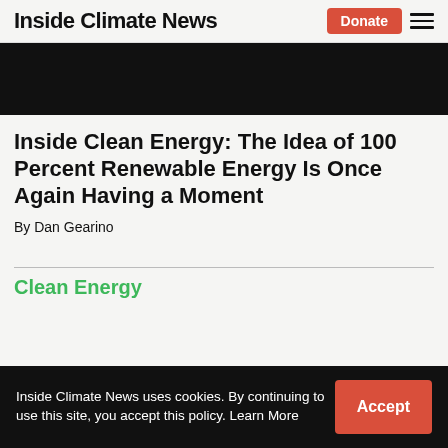Inside Climate News
[Figure (photo): Dark/black hero image at the top of the article]
Inside Clean Energy: The Idea of 100 Percent Renewable Energy Is Once Again Having a Moment
By Dan Gearino
Clean Energy
Inside Climate News uses cookies. By continuing to use this site, you accept this policy. Learn More